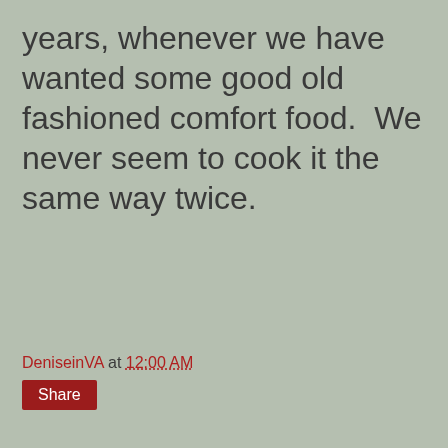years, whenever we have wanted some good old fashioned comfort food.  We never seem to cook it the same way twice.
DeniseinVA at 12:00 AM
Share